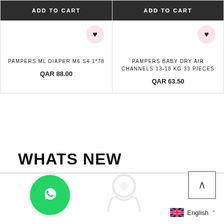[Figure (screenshot): Add to Cart button for left product card (dark/black background, white text)]
[Figure (screenshot): Add to Cart button for right product card (dark/black background, white text)]
PAMPERS ML DIAPER M6 S4 1*78
QAR 88.00
PAMPERS BABY DRY AIR CHANNELS 13-18 KG 33 PIECES
QAR 63.50
WHATS NEW
[Figure (logo): WhatsApp icon button (green circle with phone handset)]
[Figure (illustration): Faded watermark/ghost icon in center bottom area]
[Figure (other): Back to top button with up arrow]
English